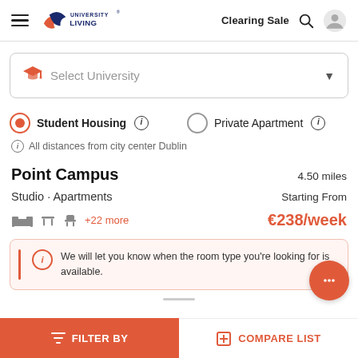University Living — Clearing Sale
Select University
Student Housing  Private Apartment
All distances from city center Dublin
Point Campus
4.50 miles
Studio · Apartments   Starting From
+22 more   €238/week
We will let you know when the room type you're looking for is available.
FILTER BY   COMPARE LIST